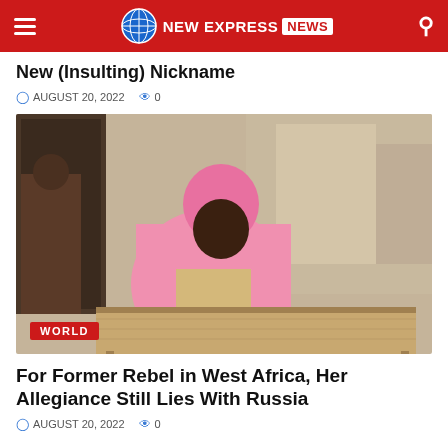NEW EXPRESS NEWS
New (Insulting) Nickname
AUGUST 20, 2022   0
[Figure (photo): A woman dressed in a pink traditional outfit and headwrap sits at a wooden table reading a book, in a modest outdoor setting in West Africa. A 'WORLD' category badge is overlaid at the bottom left.]
For Former Rebel in West Africa, Her Allegiance Still Lies With Russia
AUGUST 20, 2022   0